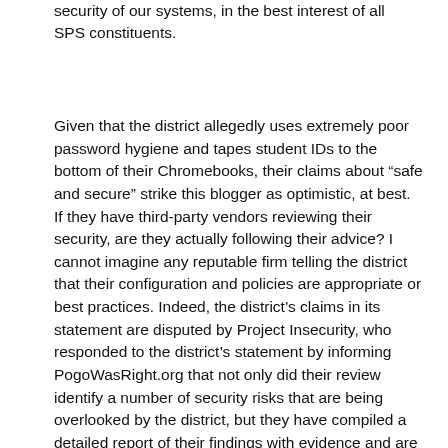security of our systems, in the best interest of all SPS constituents.
Given that the district allegedly uses extremely poor password hygiene and tapes student IDs to the bottom of their Chromebooks, their claims about “safe and secure” strike this blogger as optimistic, at best.  If they have third-party vendors reviewing their security, are they actually following their advice? I cannot imagine any reputable firm telling the district that their configuration and policies are appropriate or best practices. Indeed, the district’s claims in its statement are disputed by Project Insecurity, who responded to the district’s statement by informing PogoWasRight.org that not only did their review identify a number of security risks that are being overlooked by the district, but they have compiled a detailed report of their findings with evidence and are willing to work directly with the district to help them ensure that their systems and polices are both up-to-date and commensurate with the rapid advancement of cybersecurity threats.